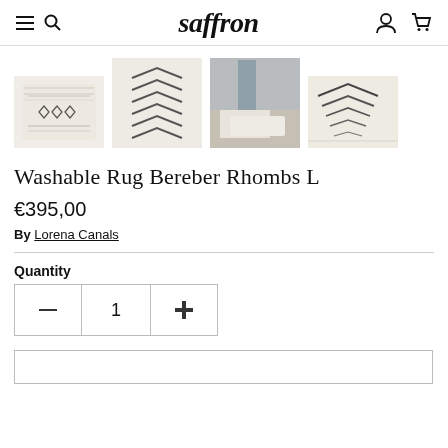saffron
[Figure (photo): Four thumbnail images of a washable Berber Rhombs rug: cream/ivory colored rugs with geometric diamond/rhombus and chevron patterns]
Washable Rug Bereber Rhombs L
€395,00
By Lorena Canals
Quantity
1